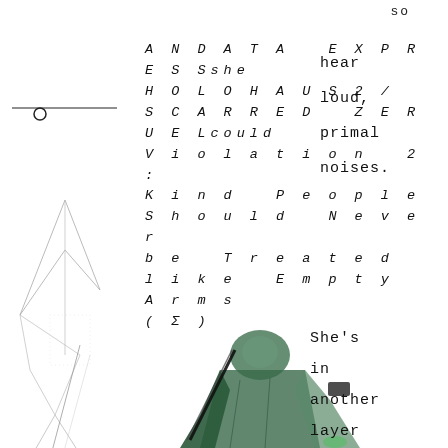so
ANDATA EXPRESS she
HOLOHAUS2/
SCARRED ZERUELcould
Violation 2:
Kind People
Should Never
be Treated
like Empty Arms
(Σ)
hear
loud,
primal
noises.
[Figure (illustration): Geometric line drawing of tall triangular/diamond shapes on left side of page, with horizontal line and circle above]
[Figure (photo): Collaged figure in green robe/cloak holding a sword-like object, photographic cutout style]
She's
in
another
layer